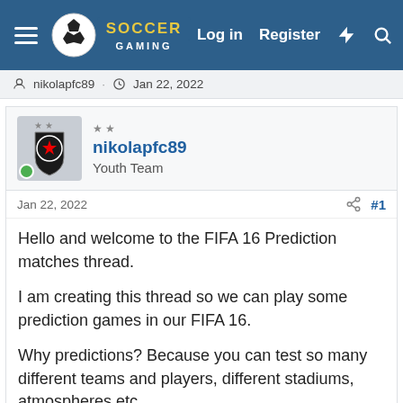Soccer Gaming — Log in | Register
nikolapfc89 · Jan 22, 2022
nikolapfc89
Youth Team
Jan 22, 2022  #1
Hello and welcome to the FIFA 16 Prediction matches thread.

I am creating this thread so we can play some prediction games in our FIFA 16.

Why predictions? Because you can test so many different teams and players, different stadiums, atmospheres etc.

During weekends and workdays, I will post my choice of games to play in FIFA 16. There will be derbies, best matches, interesting matches from all leagues in Europe. Of course, the number of games is limited so we can play them all.